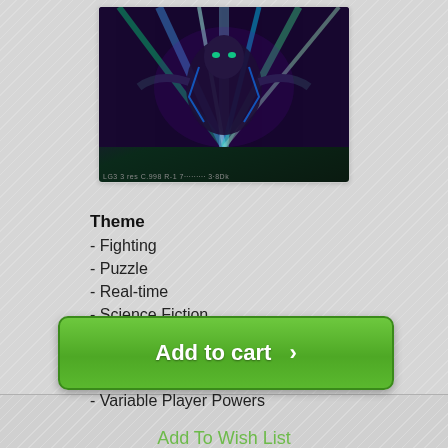[Figure (illustration): Trading card or game card image showing a dark sci-fi character with glowing neon blue/green rays against dark background]
Theme
- Fighting
- Puzzle
- Real-time
- Science Fiction
Mechanics
- Pattern Building
- Variable Player Powers
Add To Wish List
$42.99
In Stock!
Add to cart